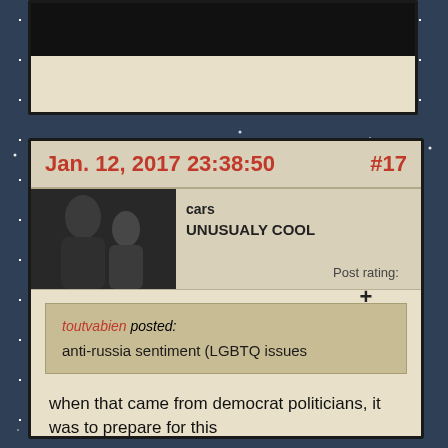Jan. 12, 2017 23:38:50  #17
cars
UNUSUALY COOL
Post rating:
+
toutvabien posted:
anti-russia sentiment (LGBTQ issues
when that came from democrat politicians, it was to prepare for this